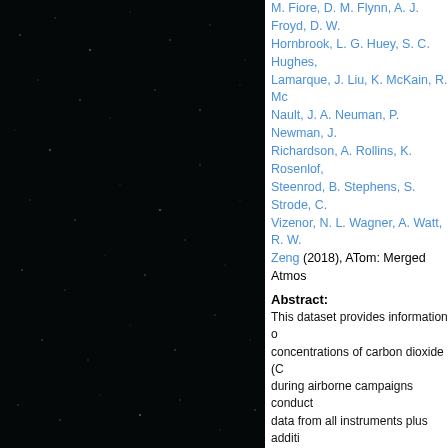[Figure (photo): Dark/black background with faint star-like dots, occupying the left portion of the page]
M. Fiore, D. M. Flynn, A. J. Froyd, D. W. Hornbrook, L. G. Huey, S. C. Hughes, Lamarque, J. Liu, K. McKain, R. Mc… Nault, J. A. Neuman, P. Newman, J.… Richardson, A. Rollins, K. Rosenlof, Steenrod, B. Stephens, S. Strode, C. Vizenor, N. L. Wagner, A. Watt, R. W.… Zeng (2018), ATom: Merged Atmos…
Abstract:
This dataset provides information on concentrations of carbon dioxide (C… during airborne campaigns conduct… data from all instruments plus additi… for seven different sampling interva… provide (weighted) averages to mat… NASA DC-8 aircraft for systematic, Flights occurred in each of 4 seaso… Palmdale, California, fly north to the return to California across central N… comprehensive dataset will be used in global models of atmospheric che… validation of satellite data, particula… including, but not limited to, latitude instruments on all four ATom flight c…
PDF of Publication:
Download from publisher's website.
Research Program: